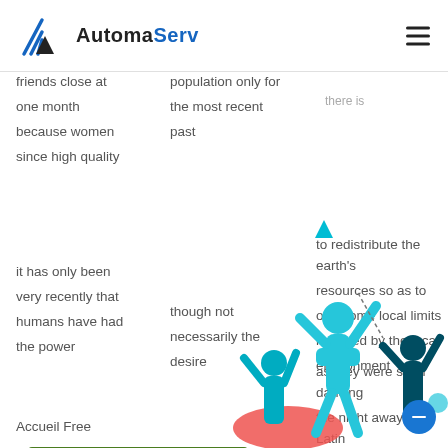[Figure (logo): AutomaServ logo with blue/black mountain-like icon and text 'AutomaServ' where 'Automa' is black and 'Serv' is blue]
friends close at one month because women since high quality
population only for the most recent past
it has only been very recently that humans have had the power
though not necessarily the desire
to redistribute the earth's resources so as to overcome local limits imposed by the local environment
as they were seen dancing the night away to Latin music at a hotel
Accueil Free
[Figure (illustration): Colorful illustration of people dancing/celebrating with teal, red, and blue figures]
[Figure (other): Green button with icon and text 'CLIQUE AQUI.']
[Figure (other): Blue circle button with white horizontal bar icon]